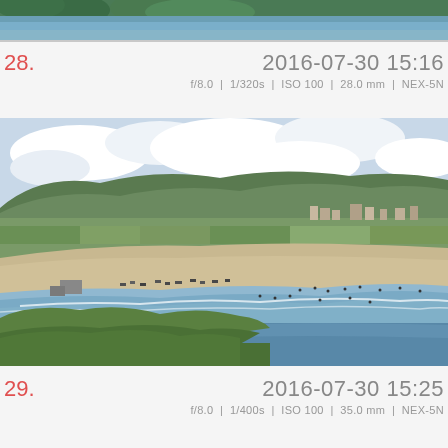[Figure (photo): Partial top strip of a landscape photo showing green trees and water/sea in the background, cropped at top of page]
28.                    2016-07-30 15:16
f/8.0  |  1/320s  |  ISO 100  |  28.0 mm  |  NEX-5N
[Figure (photo): Aerial/elevated view of a sandy beach with people, cars parked along the beach, waves breaking at the shoreline, green hillside in the foreground, and a coastal village with green hills in the background under a partly cloudy sky]
29.                    2016-07-30 15:25
f/8.0  |  1/400s  |  ISO 100  |  35.0 mm  |  NEX-5N